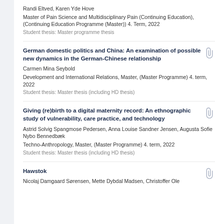Randi Eltved, Karen Yde Hove
Master of Pain Science and Multidisciplinary Pain (Continuing Education), (Continuing Education Programme (Master)) 4. Term, 2022
Student thesis: Master programme thesis
German domestic politics and China: An examination of possible new dynamics in the German-Chinese relationship
Carmen Mina Seybold
Development and International Relations, Master, (Master Programme) 4. term, 2022
Student thesis: Master thesis (including HD thesis)
Giving (re)birth to a digital maternity record: An ethnographic study of vulnerability, care practice, and technology
Astrid Solvig Spangmose Pedersen, Anna Louise Sandner Jensen, Augusta Sofie Nybo Bennedbæk
Techno-Anthropology, Master, (Master Programme) 4. term, 2022
Student thesis: Master thesis (including HD thesis)
Hawstok
Nicolaj Damgaard Sørensen, Mette Dybdal Madsen, Christoffer Ole